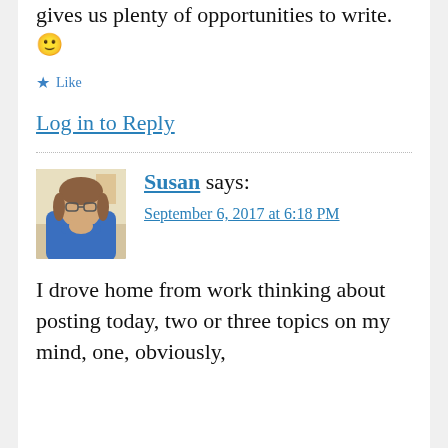gives us plenty of opportunities to write. 🙂
★ Like
Log in to Reply
Susan says:
September 6, 2017 at 6:18 PM
[Figure (photo): Avatar photo of Susan, a woman in a blue shirt resting her chin on her hand]
I drove home from work thinking about posting today, two or three topics on my mind, one, obviously,